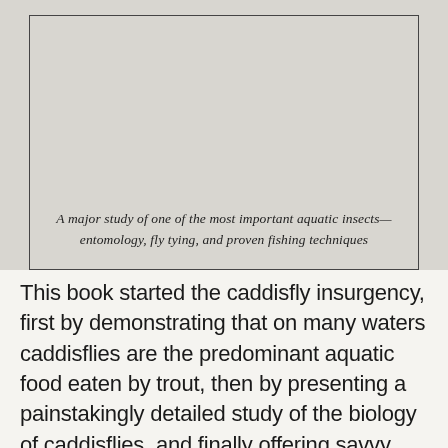[Figure (illustration): Book cover image showing an aquatic insect illustration, partially cropped at top. Below the illustration is italic caption text inside a bordered box.]
A major study of one of the most important aquatic insects—entomology, fly tying, and proven fishing techniques
This book started the caddisfly insurgency, first by demonstrating that on many waters caddisflies are the predominant aquatic food eaten by trout, then by presenting a painstakingly detailed study of the biology of caddisflies, and finally offering savvy, practical insights on tying and fishing caddisfly imitations.  At 336 pages, LaFontaine's treatise isn't exactly a book one might carry on the stream, but back at home and on the